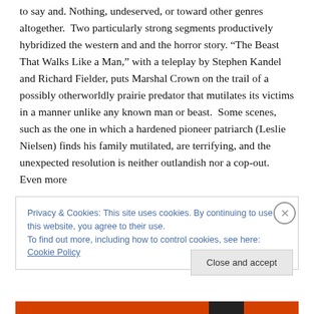to say and. Nothing, undeserved, or toward other genres altogether. Two particularly strong segments productively hybridized the western and and the horror story. “The Beast That Walks Like a Man,” with a teleplay by Stephen Kandel and Richard Fielder, puts Marshal Crown on the trail of a possibly otherworldly prairie predator that mutilates its victims in a manner unlike any known man or beast. Some scenes, such as the one in which a hardened pioneer patriarch (Leslie Nielsen) finds his family mutilated, are terrifying, and the unexpected resolution is neither outlandish nor a cop-out. Even more
Privacy & Cookies: This site uses cookies. By continuing to use this website, you agree to their use.
To find out more, including how to control cookies, see here: Cookie Policy
Close and accept